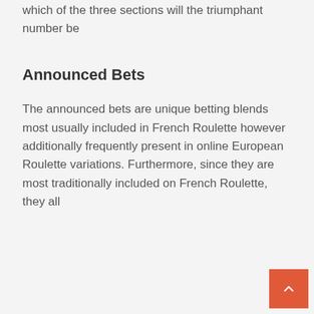which of the three sections will the triumphant number be
Announced Bets
The announced bets are unique betting blends most usually included in French Roulette however additionally frequently present in online European Roulette variations. Furthermore, since they are most traditionally included on French Roulette, they all